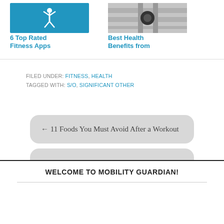[Figure (illustration): Blue card with Jordan-like figure logo — label: 6 Top Rated Fitness Apps]
6 Top Rated Fitness Apps
[Figure (photo): Photo of industrial/mechanical surface — label: Best Health Benefits from]
Best Health Benefits from
FILED UNDER: FITNESS, HEALTH
TAGGED WITH: S/O, SIGNIFICANT OTHER
← 11 Foods You Must Avoid After a Workout
The Ultimate Housework
WELCOME TO MOBILITY GUARDIAN!